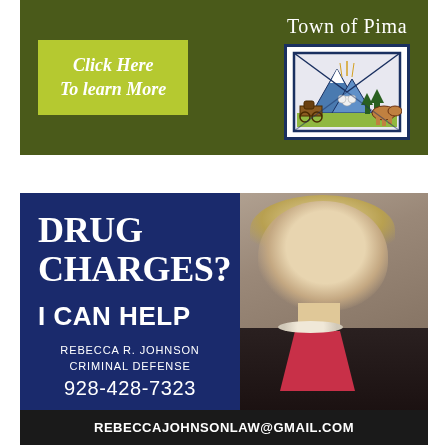[Figure (infographic): Town of Pima banner advertisement with green 'Click Here To learn More' button and Town of Pima logo/crest showing mountains, wagon, cow, and trees]
[Figure (infographic): Legal advertisement for Rebecca R. Johnson Criminal Defense. Dark blue left panel with text 'DRUG CHARGES? I CAN HELP' and contact info. Right panel shows photo of blonde woman attorney. Footer shows email address rebeccajohnsonlaw@gmail.com. Phone: 928-428-7323]